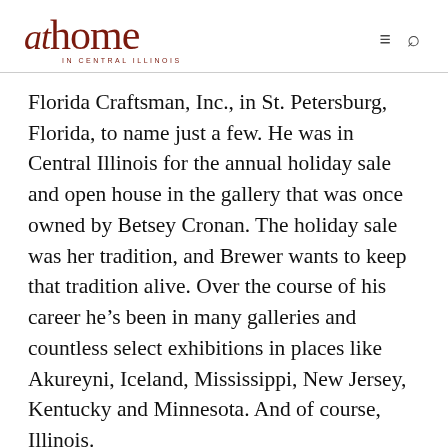at home IN CENTRAL ILLINOIS
Florida Craftsman, Inc., in St. Petersburg, Florida, to name just a few. He was in Central Illinois for the annual holiday sale and open house in the gallery that was once owned by Betsey Cronan. The holiday sale was her tradition, and Brewer wants to keep that tradition alive. Over the course of his career he’s been in many galleries and countless select exhibitions in places like Akureyni, Iceland, Mississippi, New Jersey, Kentucky and Minnesota. And of course, Illinois.
Thema Fite was the art teacher who saw the interest and potential in her young art student. “She helped